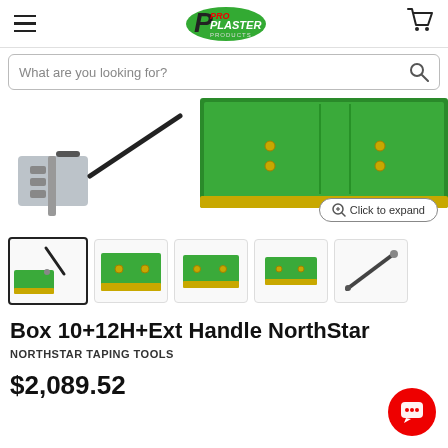[Figure (screenshot): Pro Plaster Products logo in header]
What are you looking for?
[Figure (photo): Product image showing box taping tool and extension handle NorthStar, partially cropped, with green taping box and metal handle/bracket]
[Figure (photo): Row of 5 product thumbnail images: first (active/selected) shows box + extension handle, second through fourth show the green taping box from different angles, fifth shows the extension handle only]
Box 10+12H+Ext Handle NorthStar
NORTHSTAR TAPING TOOLS
$2,089.52